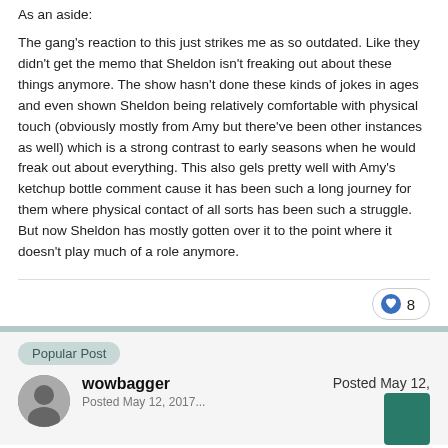As an aside:
The gang's reaction to this just strikes me as so outdated. Like they didn't get the memo that Sheldon isn't freaking out about these things anymore. The show hasn't done these kinds of jokes in ages and even shown Sheldon being relatively comfortable with physical touch (obviously mostly from Amy but there've been other instances as well) which is a strong contrast to early seasons when he would freak out about everything. This also gels pretty well with Amy's ketchup bottle comment cause it has been such a long journey for them where physical contact of all sorts has been such a struggle. But now Sheldon has mostly gotten over it to the point where it doesn't play much of a role anymore.
8
Popular Post
wowbagger
Posted May 12,